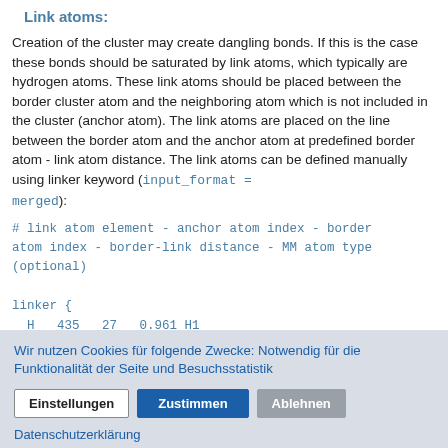Link atoms:
Creation of the cluster may create dangling bonds. If this is the case these bonds should be saturated by link atoms, which typically are hydrogen atoms. These link atoms should be placed between the border cluster atom and the neighboring atom which is not included in the cluster (anchor atom). The link atoms are placed on the line between the border atom and the anchor atom at predefined border atom - link atom distance. The link atoms can be defined manually using linker keyword (input_format = merged):
# link atom element - anchor atom index - border atom index - border-link distance - MM atom type (optional)
linker {
  H   435   27   0.961 H1
  F   445   37   1.400 F1
  C   475   39   1.510 Csp3
Wir nutzen Cookies für folgende Zwecke: Notwendig für die Funktionalität der Seite und Besuchsstatistik
Einstellungen  Zustimmen  Ablehnen
Datenschutzerklärung